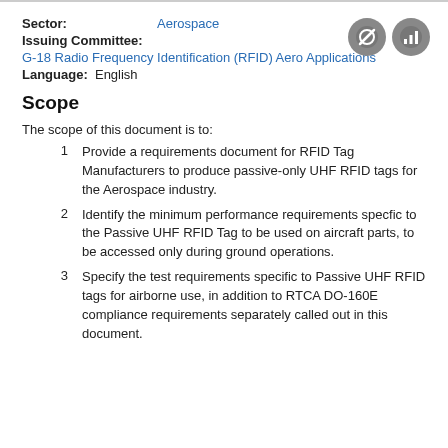Sector: Aerospace
Issuing Committee:
G-18 Radio Frequency Identification (RFID) Aero Applications
Language: English
Scope
The scope of this document is to:
Provide a requirements document for RFID Tag Manufacturers to produce passive-only UHF RFID tags for the Aerospace industry.
Identify the minimum performance requirements specfic to the Passive UHF RFID Tag to be used on aircraft parts, to be accessed only during ground operations.
Specify the test requirements specific to Passive UHF RFID tags for airborne use, in addition to RTCA DO-160E compliance requirements separately called out in this document.